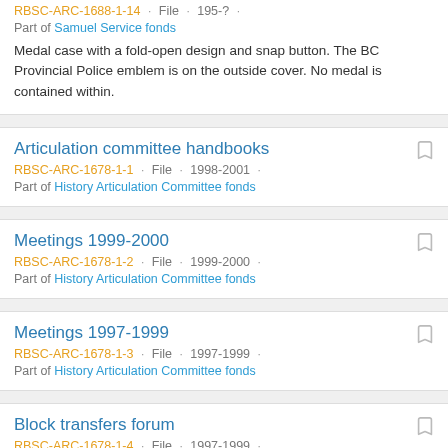RBSC-ARC-1688-1-14 · File · 195-? · Part of Samuel Service fonds
Medal case with a fold-open design and snap button. The BC Provincial Police emblem is on the outside cover. No medal is contained within.
Articulation committee handbooks
RBSC-ARC-1678-1-1 · File · 1998-2001 · Part of History Articulation Committee fonds
Meetings 1999-2000
RBSC-ARC-1678-1-2 · File · 1999-2000 · Part of History Articulation Committee fonds
Meetings 1997-1999
RBSC-ARC-1678-1-3 · File · 1997-1999 · Part of History Articulation Committee fonds
Block transfers forum
RBSC-ARC-1678-1-4 · File · 1997-1999 · Part of History Articulation Committee fonds